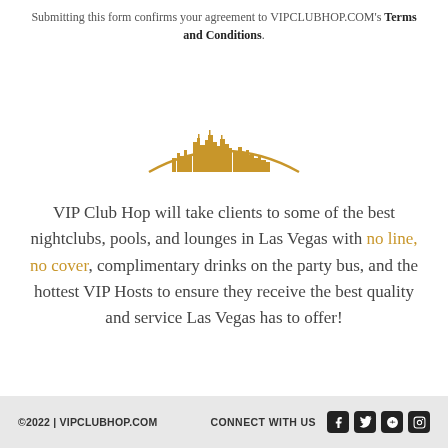Submitting this form confirms your agreement to VIPCLUBHOP.COM's Terms and Conditions.
[Figure (illustration): Gold skyline silhouette of Las Vegas with a curved arc base, VIP Club Hop branding graphic]
VIP Club Hop will take clients to some of the best nightclubs, pools, and lounges in Las Vegas with no line, no cover, complimentary drinks on the party bus, and the hottest VIP Hosts to ensure they receive the best quality and service Las Vegas has to offer!
©2022 | VIPCLUBHOP.COM    CONNECT WITH US  [Facebook] [Twitter] [Google+] [Instagram]